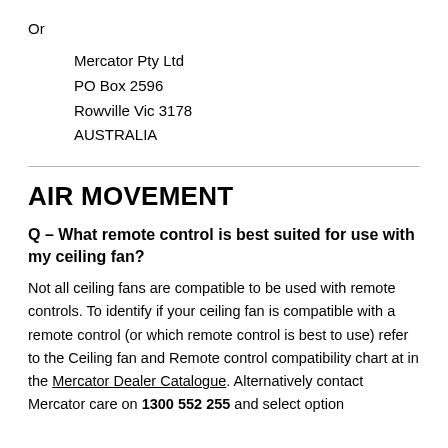Or
Mercator Pty Ltd
PO Box 2596
Rowville Vic 3178
AUSTRALIA
AIR MOVEMENT
Q – What remote control is best suited for use with my ceiling fan?
Not all ceiling fans are compatible to be used with remote controls. To identify if your ceiling fan is compatible with a remote control (or which remote control is best to use) refer to the Ceiling fan and Remote control compatibility chart at in the Mercator Dealer Catalogue. Alternatively contact Mercator care on 1300 552 255 and select option